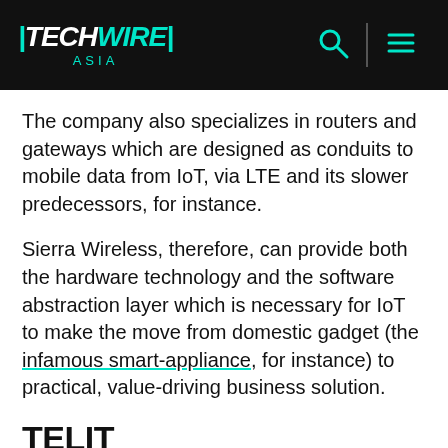TECHWIRE ASIA
The company also specializes in routers and gateways which are designed as conduits to mobile data from IoT, via LTE and its slower predecessors, for instance.
Sierra Wireless, therefore, can provide both the hardware technology and the software abstraction layer which is necessary for IoT to make the move from domestic gadget (the infamous smart-appliance, for instance) to practical, value-driving business solution.
TELIT
UK-based Telit began life as an engineering solution